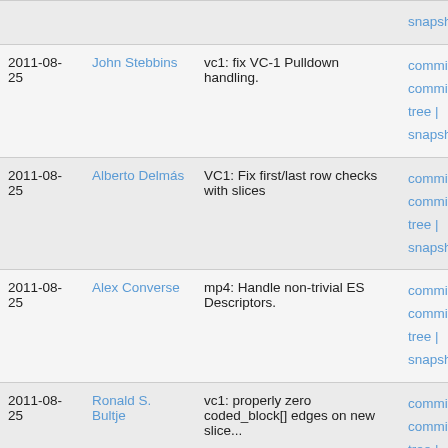| Date | Author | Description | Links |
| --- | --- | --- | --- |
|  |  |  | snapshot |
| 2011-08-25 | John Stebbins | vc1: fix VC-1 Pulldown handling. | commit | commitdiff | tree | snapshot |
| 2011-08-25 | Alberto Delmás | VC1: Fix first/last row checks with slices | commit | commitdiff | tree | snapshot |
| 2011-08-25 | Alex Converse | mp4: Handle non-trivial ES Descriptors. | commit | commitdiff | tree | snapshot |
| 2011-08-25 | Ronald S. Bultje | vc1: properly zero coded_block[] edges on new slice... | commit | commitdiff | tree | snapshot |
| 2011-08-24 | Alex Converse | avconv: Replace goto redo on decode fail with continue. | commit | commitdiff | tree | snapshot |